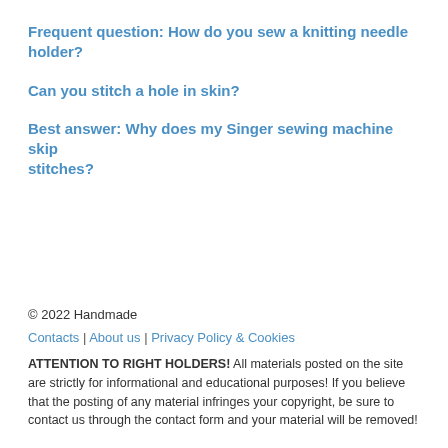Frequent question: How do you sew a knitting needle holder?
Can you stitch a hole in skin?
Best answer: Why does my Singer sewing machine skip stitches?
© 2022 Handmade
Contacts | About us | Privacy Policy & Cookies
ATTENTION TO RIGHT HOLDERS! All materials posted on the site are strictly for informational and educational purposes! If you believe that the posting of any material infringes your copyright, be sure to contact us through the contact form and your material will be removed!